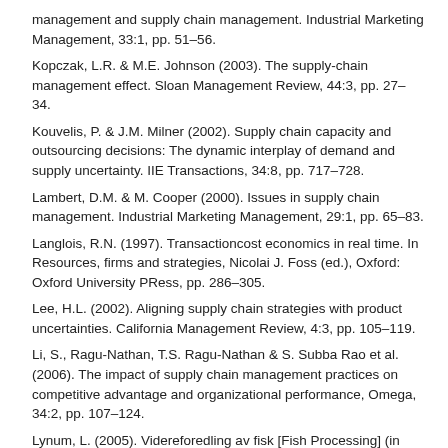management and supply chain management. Industrial Marketing Management, 33:1, pp. 51–56.
Kopczak, L.R. & M.E. Johnson (2003). The supply-chain management effect. Sloan Management Review, 44:3, pp. 27–34.
Kouvelis, P. & J.M. Milner (2002). Supply chain capacity and outsourcing decisions: The dynamic interplay of demand and supply uncertainty. IIE Transactions, 34:8, pp. 717–728.
Lambert, D.M. & M. Cooper (2000). Issues in supply chain management. Industrial Marketing Management, 29:1, pp. 65–83.
Langlois, R.N. (1997). Transactioncost economics in real time. In Resources, firms and strategies, Nicolai J. Foss (ed.), Oxford: Oxford University PRess, pp. 286–305.
Lee, H.L. (2002). Aligning supply chain strategies with product uncertainties. California Management Review, 4:3, pp. 105–119.
Li, S., Ragu-Nathan, T.S. Ragu-Nathan & S. Subba Rao et al. (2006). The impact of supply chain management practices on competitive advantage and organizational performance, Omega, 34:2, pp. 107–124.
Lynum, L. (2005). Videreforedling av fisk [Fish Processing] (in Norwegian). Trondheim: Tapir.
Mahoney, J.T. (1992). The choice of organizational form: Vertical financial